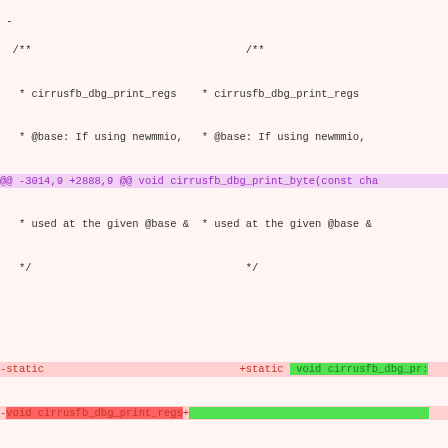Unified diff view of cirrusfb source code changes showing function modifications
[Figure (screenshot): A unified diff view of a C source code file showing removed and added lines for cirrusfb_dbg_print_regs and related functions, with purple hunk headers, red removed lines, and green added lines on a light pink background.]